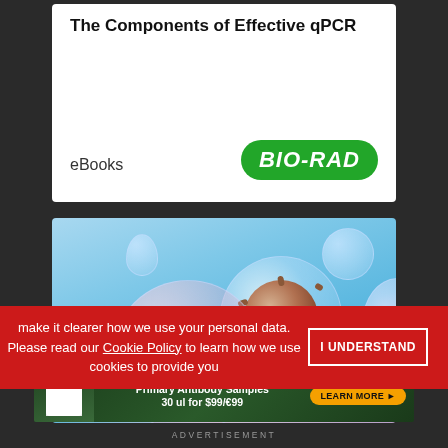The Components of Effective qPCR
eBooks
[Figure (logo): Bio-Rad logo in green rounded rectangle with white italic bold text]
[Figure (photo): Scientific microscopy illustration showing coronavirus/virus particles enclosed in transparent bubble-like spheres against a blue background]
make it clearer how we use your personal data.
Please read our Cookie Policy to learn how we use cookies to provide you
I UNDERSTAND
[Figure (infographic): OriGene special offer advertisement banner: SPECIAL OFFER - Primary Antibody Samples 30 ul for $99/€99 with LEARN MORE button and scientist figure]
ADVERTISEMENT